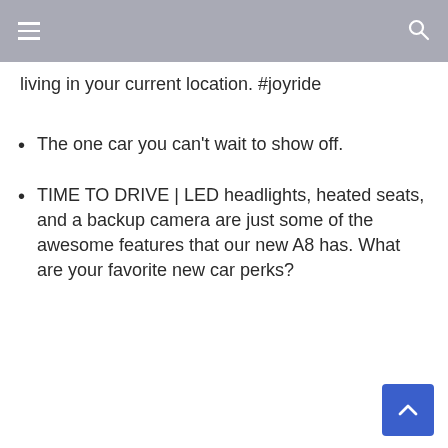living in your current location. #joyride
The one car you can't wait to show off.
TIME TO DRIVE | LED headlights, heated seats, and a backup camera are just some of the awesome features that our new A8 has. What are your favorite new car perks?